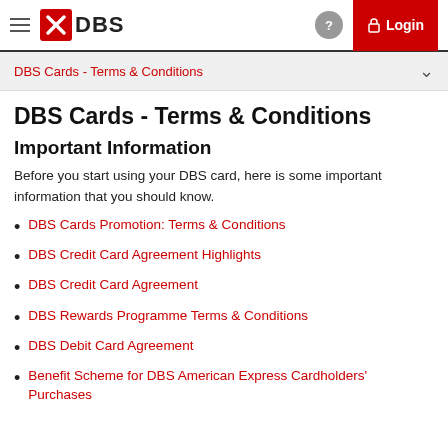DBS [logo] Login
DBS Cards - Terms & Conditions
DBS Cards - Terms & Conditions
Important Information
Before you start using your DBS card, here is some important information that you should know.
DBS Cards Promotion: Terms & Conditions
DBS Credit Card Agreement Highlights
DBS Credit Card Agreement
DBS Rewards Programme Terms & Conditions
DBS Debit Card Agreement
Benefit Scheme for DBS American Express Cardholders' Purchases